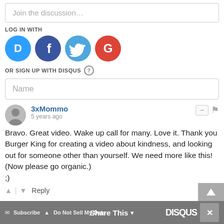Join the discussion…
LOG IN WITH
[Figure (illustration): Four social login icons: Disqus (blue speech bubble with D), Facebook (dark blue circle with F), Twitter (light blue circle with bird), Google (red circle with G)]
OR SIGN UP WITH DISQUS ?
Name
3xMommo • 5 years ago
Bravo. Great video. Wake up call for many. Love it. Thank you Burger King for creating a video about kindness, and looking out for someone other than yourself. We need more like this! (Now please go organic.)
;)
Subscribe  ▲ Do Not Sell My Data   Share This ▾   DISQUS